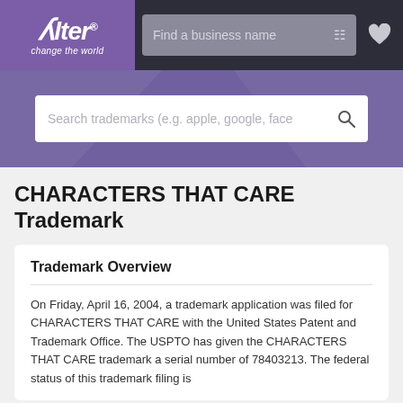[Figure (logo): Alter logo — purple box with 'Alter' in white italic text and 'change the world' subtitle]
Find a business name
[Figure (screenshot): Purple hero banner with trademark search bar: 'Search trademarks (e.g. apple, google, face']
CHARACTERS THAT CARE Trademark
Trademark Overview
On Friday, April 16, 2004, a trademark application was filed for CHARACTERS THAT CARE with the United States Patent and Trademark Office. The USPTO has given the CHARACTERS THAT CARE trademark a serial number of 78403213. The federal status of this trademark filing is